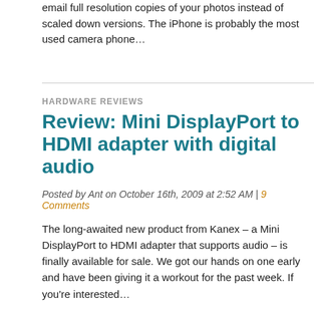email full resolution copies of your photos instead of scaled down versions. The iPhone is probably the most used camera phone…
HARDWARE REVIEWS
Review: Mini DisplayPort to HDMI adapter with digital audio
Posted by Ant on October 16th, 2009 at 2:52 AM | 9 Comments
The long-awaited new product from Kanex – a Mini DisplayPort to HDMI adapter that supports audio – is finally available for sale. We got our hands on one early and have been giving it a workout for the past week. If you're interested…